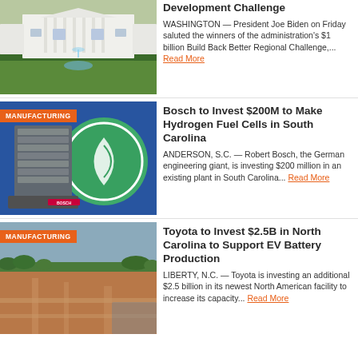[Figure (photo): White House building with fountain and green lawn]
Development Challenge
WASHINGTON — President Joe Biden on Friday saluted the winners of the administration's $1 billion Build Back Better Regional Challenge,... Read More
[Figure (photo): Bosch hydrogen fuel cell manufacturing product display with green circular logo]
Bosch to Invest $200M to Make Hydrogen Fuel Cells in South Carolina
ANDERSON, S.C. — Robert Bosch, the German engineering giant, is investing $200 million in an existing plant in South Carolina... Read More
[Figure (photo): Aerial view of Toyota North Carolina EV battery production facility construction site]
Toyota to Invest $2.5B in North Carolina to Support EV Battery Production
LIBERTY, N.C. — Toyota is investing an additional $2.5 billion in its newest North American facility to increase its capacity... Read More